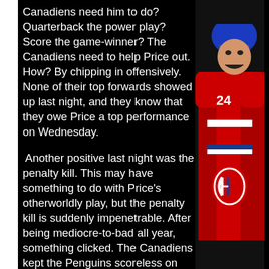Canadiens need him to do? Quarterback the power play? Score the game-winner? The Canadiens need to help Price out. How? By chipping in offensively. None of their top forwards showed up last night, and they know that they owe Price a top performance on Wednesday.

 Another positive last night was the penalty kill. This may have something to do with Price's otherworldly play, but the penalty kill is suddenly impenetrable. After being mediocre-to-bad all year, something clicked. The Canadiens kept the Penguins scoreless on the power play, including another 5-on-3, this one lasting 28 seconds. The Canadiens
[Figure (photo): Hockey player in Montreal Canadiens red jersey with number 24 and blue helmet, celebrating or reacting during a game]